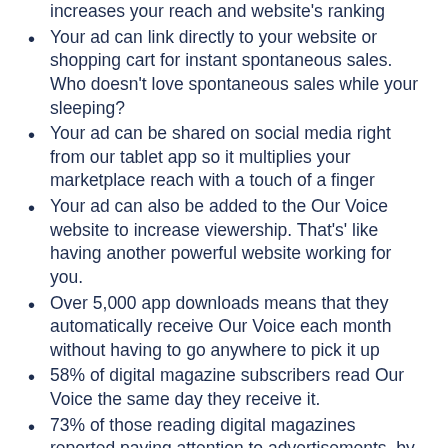increases your reach and website's ranking
Your ad can link directly to your website or shopping cart for instant spontaneous sales. Who doesn't love spontaneous sales while your sleeping?
Your ad can be shared on social media right from our tablet app so it multiplies your marketplace reach with a touch of a finger
Your ad can also be added to the Our Voice website to increase viewership. That's' like having another powerful website working for you.
Over 5,000 app downloads means that they automatically receive Our Voice each month without having to go anywhere to pick it up
58% of digital magazine subscribers read Our Voice the same day they receive it.
73% of those reading digital magazines reported paying attention to advertisements, by either tapping or reading the